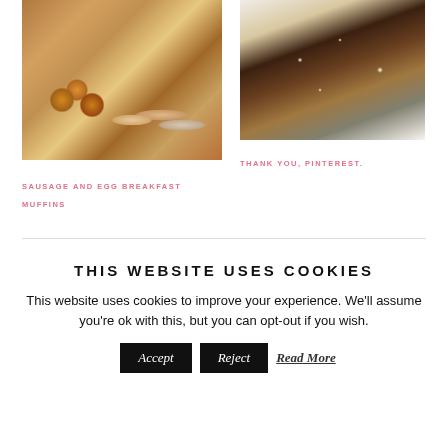[Figure (photo): Breakfast ingredients including eggs, sausages, and English muffins on a wooden board with condiments]
[Figure (photo): Chocolate bark or granola bar pieces on a decorative glass plate]
THANK YOU, PINTEREST.
SAUSAGE AND EGG BREAKFAST MUFFINS
THIS WEBSITE USES COOKIES
This website uses cookies to improve your experience. We'll assume you're ok with this, but you can opt-out if you wish.
Accept   Reject   Read More